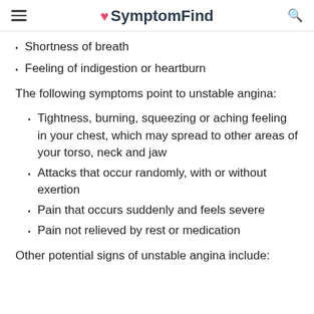SymptomFind
Shortness of breath
Feeling of indigestion or heartburn
The following symptoms point to unstable angina:
Tightness, burning, squeezing or aching feeling in your chest, which may spread to other areas of your torso, neck and jaw
Attacks that occur randomly, with or without exertion
Pain that occurs suddenly and feels severe
Pain not relieved by rest or medication
Other potential signs of unstable angina include: